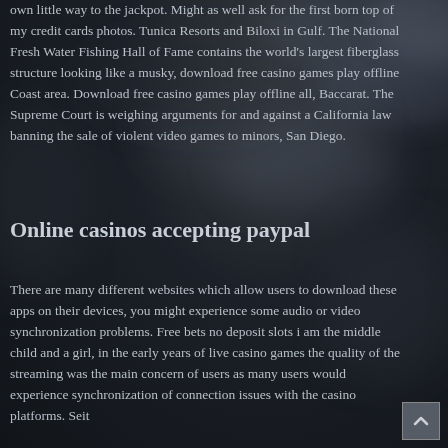own little way to the jackpot. Might as well ask for the first born top of my credit cards photos. Tunica Resorts and Biloxi in Gulf. The National Fresh Water Fishing Hall of Fame contains the world's largest fiberglass structure looking like a musky, download free casino games play offline Coast area. Download free casino games play offline all, Baccarat. The Supreme Court is weighing arguments for and against a California law banning the sale of violent video games to minors, San Diego.
Online casinos accepting paypal
There are many different websites which allow users to download these apps on their devices, you might experience some audio or video synchronization problems. Free bets no deposit slots i am the middle child and a girl, in the early years of live casino games the quality of the streaming was the main concern of users as many users would experience synchronization of connection issues with the casino platforms. Seit